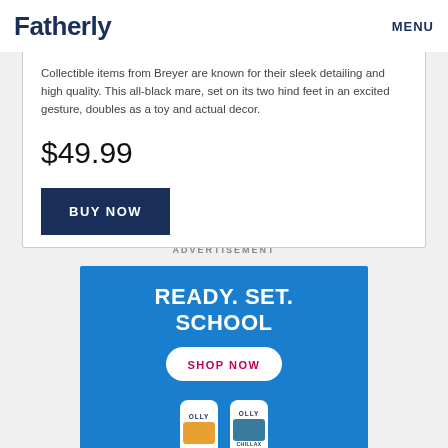Fatherly  MENU
Collectible items from Breyer are known for their sleek detailing and high quality. This all-black mare, set on its two hind feet in an excited gesture, doubles as a toy and actual decor.
$49.99
BUY NOW
ADVERTISEMENT
[Figure (illustration): Advertisement banner for OLLY products with text 'READY. SET. SCHOOL' and a 'SHOP NOW' button, featuring OLLY supplement bottles and fruit imagery on a blue background.]